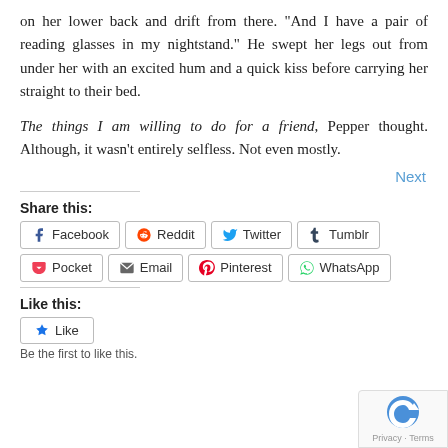on her lower back and drift from there. “And I have a pair of reading glasses in my nightstand.” He swept her legs out from under her with an excited hum and a quick kiss before carrying her straight to their bed.
The things I am willing to do for a friend, Pepper thought. Although, it wasn’t entirely selfless. Not even mostly.
Next
Share this:
[Figure (infographic): Share buttons row 1: Facebook, Reddit, Twitter, Tumblr]
[Figure (infographic): Share buttons row 2: Pocket, Email, Pinterest, WhatsApp]
Like this:
[Figure (infographic): Like button]
Be the first to like this.